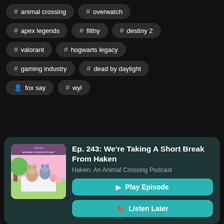# animal crossing
# overwatch
# apex legends
# filthy
# destiny 2
# valorant
# hogwarts legacy
# gaming industry
# dead by daylight
fox say
# wyl
[Figure (illustration): Haken: An Animal Crossing Podcast artwork showing animal crossing characters having a picnic]
Ep. 243: We're Taking A Short Break From Haken
Haken: An Animal Crossing Podcast
▶ Play Episode
🔖 Listen Later